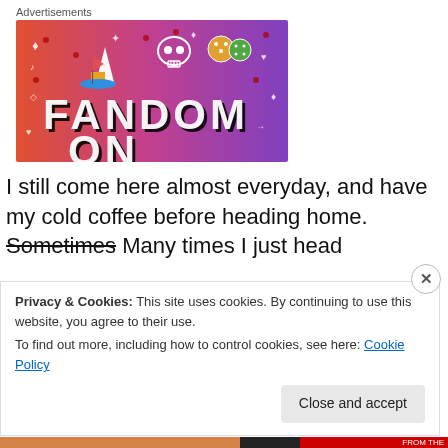Advertisements
[Figure (illustration): Fandom advertisement banner with colorful gradient background (red to purple), featuring icons like a sailboat, skull, dice, and the word FANDOM in bold block letters.]
I still come here almost everyday, and have my cold coffee before heading home. Sometimes Many times I just head
Privacy & Cookies: This site uses cookies. By continuing to use this website, you agree to their use.
To find out more, including how to control cookies, see here: Cookie Policy
Close and accept